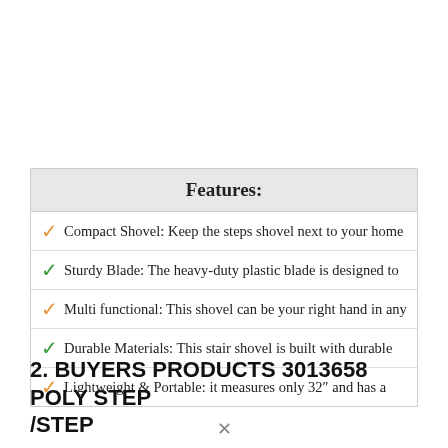| Features: |
| --- |
| ✓ Compact Shovel: Keep the steps shovel next to your home |
| ✓ Sturdy Blade: The heavy-duty plastic blade is designed to |
| ✓ Multi functional: This shovel can be your right hand in any |
| ✓ Durable Materials: This stair shovel is built with durable |
| ✓ Lightweight & Portable: it measures only 32″ and has a |
2. BUYERS PRODUCTS 3013658 POLY STEP /STEP